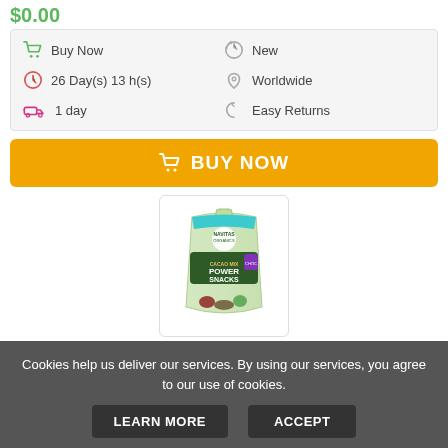$0.00
Buy Now | 26 Day(s) 13 h(s) | 1 day | New | Worldwide | Easy Returns
BUY NOW
[Figure (photo): Navitas Organics Organic Power Snacks product bag]
Navitas Organics Organic Power Snack...
Cookies help us deliver our services. By using our services, you agree to our use of cookies.
LEARN MORE
ACCEPT